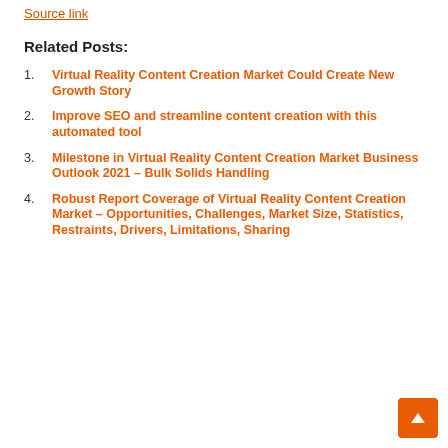Source link
Related Posts:
Virtual Reality Content Creation Market Could Create New Growth Story
Improve SEO and streamline content creation with this automated tool
Milestone in Virtual Reality Content Creation Market Business Outlook 2021 – Bulk Solids Handling
Robust Report Coverage of Virtual Reality Content Creation Market – Opportunities, Challenges, Market Size, Statistics, Restraints, Drivers, Limitations, Sharing